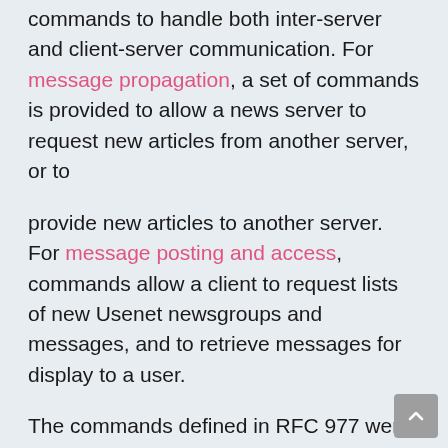commands to handle both inter-server and client-server communication. For message propagation, a set of commands is provided to allow a news server to request new articles from another server, or to
provide new articles to another server. For message posting and access, commands allow a client to request lists of new Usenet newsgroups and messages, and to retrieve messages for display to a user.
The commands defined in RFC 977 were the only “official” ones for over a decade. However, even as early as the late 1980s, implementers of NNTP news servers and client software were adding new commands and features to make NNTP both more efficient and useful to users. These NNTP extensions were eventually documented in RFC 2980.